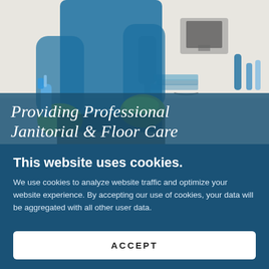[Figure (photo): Background photo of a cleaning professional in a blue apron and green rubber gloves, holding a spray bottle and wiping a desk in an office environment.]
Providing Professional Janitorial & Floor Care
This website uses cookies.
We use cookies to analyze website traffic and optimize your website experience. By accepting our use of cookies, your data will be aggregated with all other user data.
ACCEPT